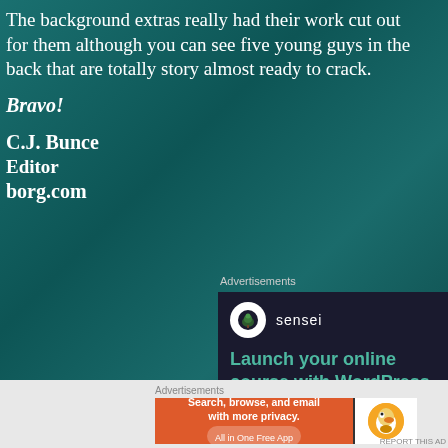The background extras really had their work cut out for them although you can see five young guys in the back that are totally story almost ready to crack.
Bravo!
C.J. Bunce
Editor
borg.com
Advertisements
[Figure (advertisement): Sensei ad: dark navy background with Sensei logo (tree in white circle) and tagline 'Launch your online course with WordPress']
Advertisements
[Figure (advertisement): DuckDuckGo ad: orange section with text 'Search, browse, and email with more privacy. All in One Free App', white section with DuckDuckGo duck logo]